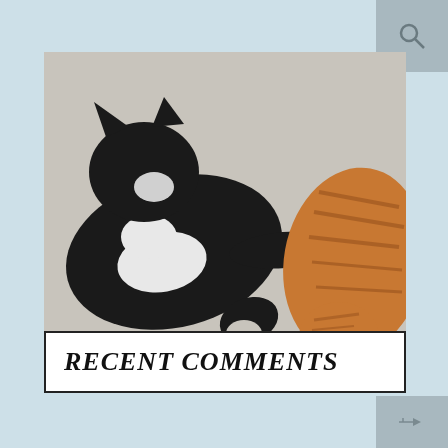[Figure (photo): Two cats on a carpet — a black and white tuxedo cat lying on its back with paw extended toward an orange tabby cat facing it. Watermark: ©Pakamo2018]
RECENT COMMENTS